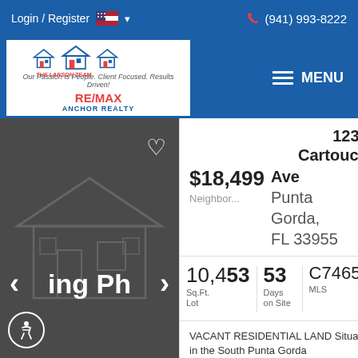Login / Register  (941) 993-8222
[Figure (logo): The Larson Team RE/MAX Anchor Realty logo with house icons]
MENU
[Figure (photo): Dark gray placeholder property image with watermark house graphic, heart icon, navigation arrows, loading text 'ing Ph', and accessibility icon]
12348 Cartouche Ave
$18,499
Neighbor...
Punta Gorda, FL 33955
10,453  Sq.Ft. Lot
53  Days on Site
C746505  MLS
VACANT RESIDENTIAL LAND Situated in the South Punta Gorda